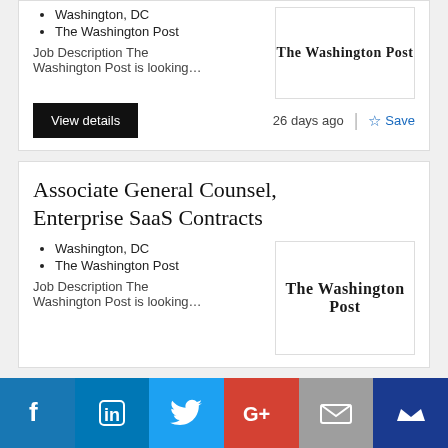Washington, DC
The Washington Post
Job Description The Washington Post is looking…
[Figure (logo): The Washington Post logo (blackletter text)]
View details
26 days ago
Save
Associate General Counsel, Enterprise SaaS Contracts
Washington, DC
The Washington Post
Job Description The Washington Post is looking…
[Figure (logo): The Washington Post logo (blackletter text)]
[Figure (logo): Social media share bar: Facebook, LinkedIn, Twitter, Google+, Email, Crown]